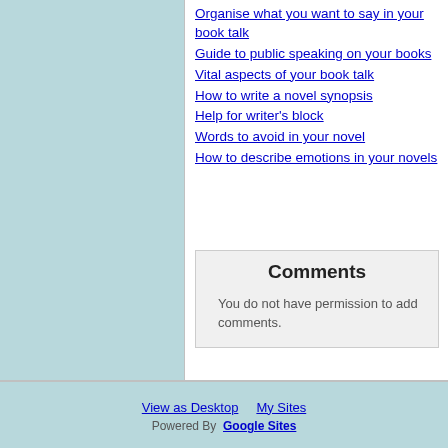Organise what you want to say in your book talk
Guide to public speaking on your books
Vital aspects of your book talk
How to write a novel synopsis
Help for writer's block
Words to avoid in your novel
How to describe emotions in your novels
Comments
You do not have permission to add comments.
View as Desktop   My Sites
Powered By Google Sites